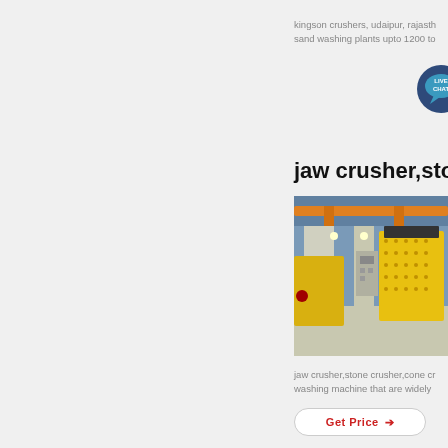kingson crushers, udaipur, rajasth sand washing plants upto 1200 to
[Figure (other): Get Price button with red text and arrow, and Live Chat speech bubble icon in dark navy/teal]
jaw crusher,stone
[Figure (photo): Yellow heavy industrial impact crusher machine in a factory/warehouse setting with orange overhead cranes]
jaw crusher,stone crusher,cone cr washing machine that are widely
[Figure (other): Get Price button with red text and arrow]